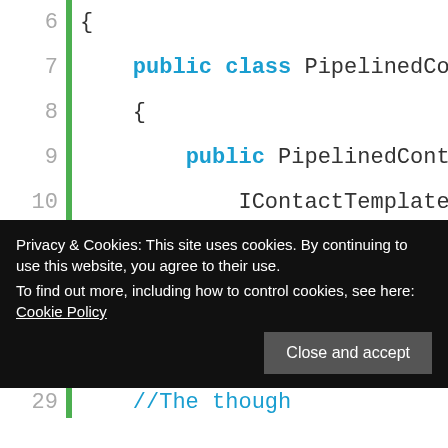[Figure (screenshot): Code editor screenshot showing C# class definition with line numbers 6-22. Lines show 'public class PipelinedCo...', constructor with IContactTemplateR..., BulkOperationMana..., IWorkItemSetMana..., base(contactRe..., protected override I..., if (existingConta..., var mapConta... A green vertical bar runs along the left side next to the line numbers.]
Privacy & Cookies: This site uses cookies. By continuing to use this website, you agree to their use.
To find out more, including how to control cookies, see here: Cookie Policy
Close and accept
[Figure (screenshot): Partial bottom code lines showing line 29 with '//The though:']